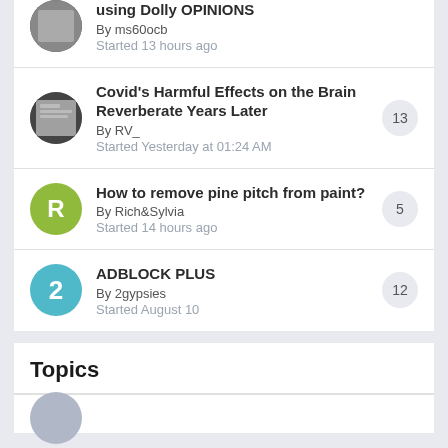using Dolly OPINIONS
By ms60ocb
Started 13 hours ago
Covid's Harmful Effects on the Brain Reverberate Years Later
By RV_
Started Yesterday at 01:24 AM
13 replies
How to remove pine pitch from paint?
By Rich&Sylvia
Started 14 hours ago
5 replies
ADBLOCK PLUS
By 2gypsies
Started August 10
12 replies
Topics